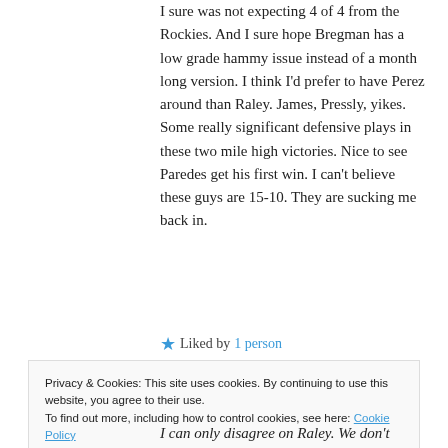I sure was not expecting 4 of 4 from the Rockies. And I sure hope Bregman has a low grade hammy issue instead of a month long version. I think I'd prefer to have Perez around than Raley. James, Pressly, yikes. Some really significant defensive plays in these two mile high victories. Nice to see Paredes get his first win. I can't believe these guys are 15-10. They are sucking me back in.
★ Liked by 1 person
Privacy & Cookies: This site uses cookies. By continuing to use this website, you agree to their use. To find out more, including how to control cookies, see here: Cookie Policy
Close and accept
I can only disagree on Raley. We don't